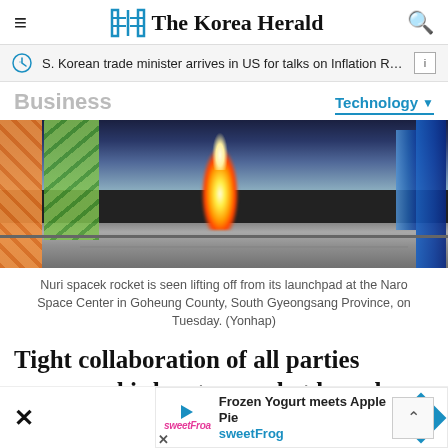The Korea Herald
S. Korean trade minister arrives in US for talks on Inflation Reduc…
Business
Technology
[Figure (photo): Nuri spacek rocket lifting off from launchpad at the Naro Space Center, with orange scaffolding, green structure, blue crane, and bright flame visible]
Nuri spacek rocket is seen lifting off from its launchpad at the Naro Space Center in Goheung County, South Gyeongsang Province, on Tuesday. (Yonhap)
Tight collaboration of all parties concerned is key to a rocket launch, as a minor technical glitch could botch years of efforts.
[Figure (other): Advertisement: Frozen Yogurt meets Apple Pie - sweetFrog with logo and navigation arrow button]